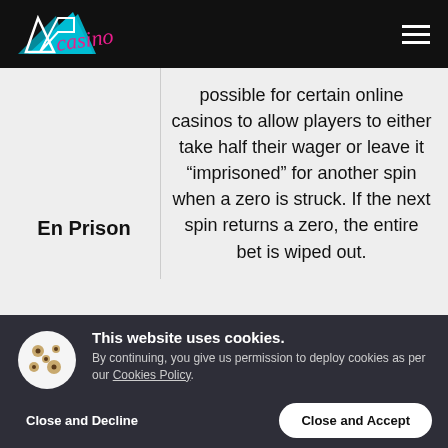PL Casino
En Prison
possible for certain online casinos to allow players to either take half their wager or leave it “imprisoned” for another spin when a zero is struck. If the next spin returns a zero, the entire bet is wiped out.
This website uses cookies. By continuing, you give us permission to deploy cookies as per our Cookies Policy.
Close and Decline
Close and Accept